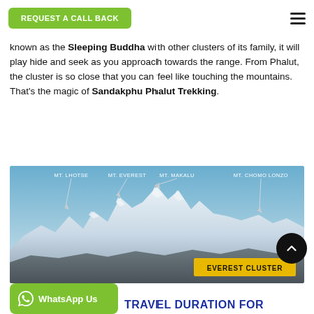REQUEST A CALL BACK
known as the Sleeping Buddha with other clusters of its family, it will play hide and seek as you approach towards the range. From Phalut, the cluster is so close that you can feel like touching the mountains. That's the magic of Sandakphu Phalut Trekking.
[Figure (photo): Panoramic photograph of the Everest Cluster of Himalayan mountains as seen from Sandakphu/Phalut, with labeled peaks: MT. LHOTSE, MT. EVEREST, MT. MAKALU, MT. CHOMO LONZO, and a yellow label reading EVEREST CLUSTER.]
TRAVEL DURATION FOR